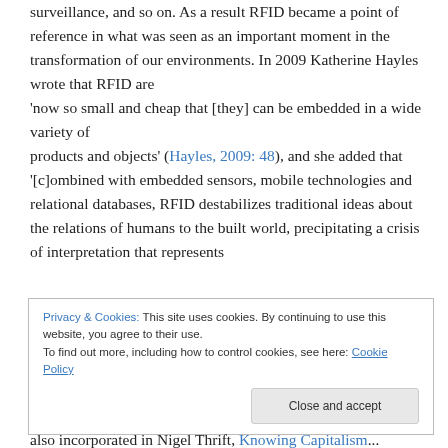surveillance, and so on. As a result RFID became a point of reference in what was seen as an important moment in the transformation of our environments. In 2009 Katherine Hayles wrote that RFID are 'now so small and cheap that [they] can be embedded in a wide variety of products and objects' (Hayles, 2009: 48), and she added that '[c]ombined with embedded sensors, mobile technologies and relational databases, RFID destabilizes traditional ideas about the relations of humans to the built world, precipitating a crisis of interpretation that represents
Privacy & Cookies: This site uses cookies. By continuing to use this website, you agree to their use.
To find out more, including how to control cookies, see here: Cookie Policy
[Close and accept]
also incorporated in Nigel Thrift, Knowing Capitalism...